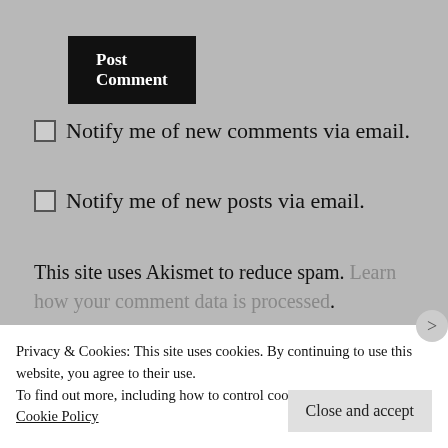Post Comment
Notify me of new comments via email.
Notify me of new posts via email.
This site uses Akismet to reduce spam. Learn how your comment data is processed.
HOME
Privacy & Cookies: This site uses cookies. By continuing to use this website, you agree to their use.
To find out more, including how to control cookies, see here:
Cookie Policy
Close and accept